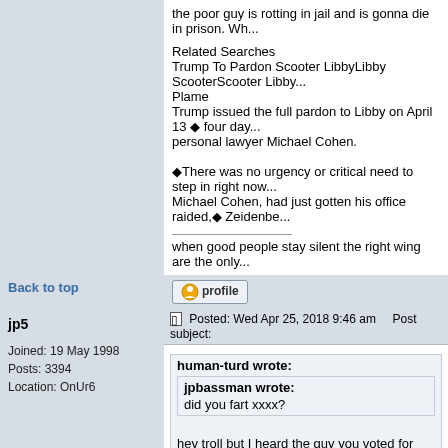the poor guy is rotting in jail and is gonna die in prison. Wh...
Related Searches
Trump To Pardon Scooter LibbyLibby ScooterScooter Libby...
Plame
Trump issued the full pardon to Libby on April 13 four days after his personal lawyer Michael Cohen.

There was no urgency or critical need to step in right now... Michael Cohen, had just gotten his office raided, Zeidenbe...
when good people stay silent the right wing are the only...
Back to top
[Figure (screenshot): Profile button with user icon]
jp5
Posted: Wed Apr 25, 2018 9:46 am   Post subject:
human-turd wrote:
jpbassman wrote:
did you fart xxxx?

hey troll but I heard the guy you voted for and support r... sexually assaulted in the hundred?

what does that say about who you are...

no, that would be the husband of the bitch you voted fo...
Joined: 19 May 1998
Posts: 3394
Location: OnUr6
Back to top
[Figure (screenshot): Profile button with user icon]
wsurfer
Posted: Fri Apr 27, 2018 8:05 pm   Post subject: